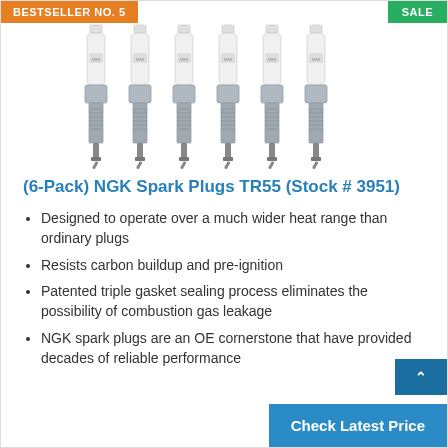BESTSELLER NO. 5
SALE
[Figure (photo): Six NGK TR55 spark plugs arranged side by side, showing white ceramic insulators and metal threaded bases]
(6-Pack) NGK Spark Plugs TR55 (Stock # 3951)
Designed to operate over a much wider heat range than ordinary plugs
Resists carbon buildup and pre-ignition
Patented triple gasket sealing process eliminates the possibility of combustion gas leakage
NGK spark plugs are an OE cornerstone that have provided decades of reliable performance